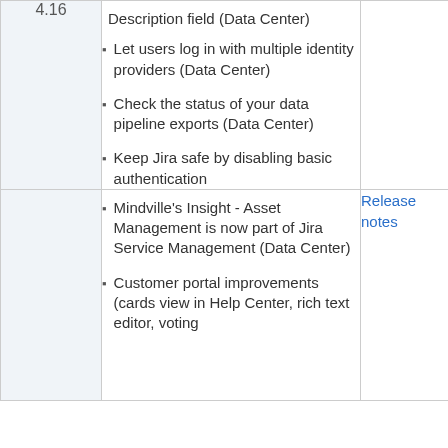Description field (Data Center)
Let users log in with multiple identity providers (Data Center)
Check the status of your data pipeline exports (Data Center)
Keep Jira safe by disabling basic authentication
Mindville's Insight - Asset Management is now part of Jira Service Management (Data Center)
Customer portal improvements (cards view in Help Center, rich text editor, voting
Release notes